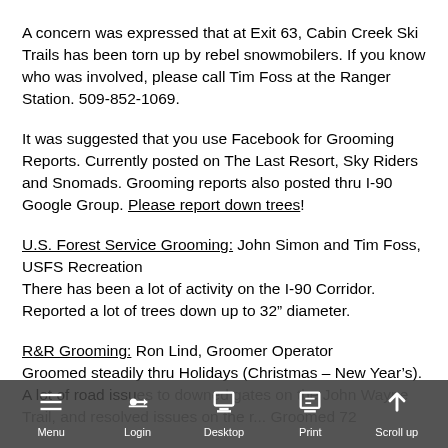A concern was expressed that at Exit 63, Cabin Creek Ski Trails has been torn up by rebel snowmobilers. If you know who was involved, please call Tim Foss at the Ranger Station. 509-852-1069.
It was suggested that you use Facebook for Grooming Reports. Currently posted on The Last Resort, Sky Riders and Snomads. Grooming reports also posted thru I-90 Google Group. Please report down trees!
U.S. Forest Service Grooming: John Simon and Tim Foss, USFS Recreation
There has been a lot of activity on the I-90 Corridor. Reported a lot of trees down up to 32" diameter.
R&R Grooming: Ron Lind, Groomer Operator
Groomed steadily thru Holidays (Christmas – New Year's). A lot of road issues, downed gates on the John Wayne Trail, and resolving issues on the r... Groomed 72